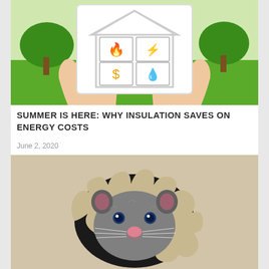[Figure (photo): Hands holding a tablet or frame showing a house icon with four quadrant symbols: fire/flame, lightning bolt, dollar sign, water drop. Background shows green grass and trees — home insurance or energy concept image.]
SUMMER IS HERE: WHY INSULATION SAVES ON ENERGY COSTS
June 2, 2020
[Figure (photo): A rat or mouse peering through a torn hole in cardboard or drywall, looking directly at camera with blue eyes and pink nose.]